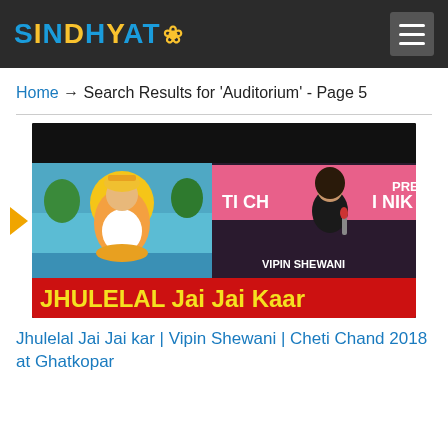SINDHYAT
Home → Search Results for 'Auditorium' - Page 5
[Figure (photo): Thumbnail image showing Jhulelal Jai Jai Kaar video: left half shows a colorful religious illustration of Jhulelal seated on a lotus, right half shows a young man (Vipin Shewani) singing into a microphone on stage with a pink banner behind him. A red banner at the bottom reads 'JHULELAL Jai Jai Kaar' in yellow text. Text 'VIPIN SHEWANI' appears in white.]
Jhulelal Jai Jai kar | Vipin Shewani | Cheti Chand 2018 at Ghatkopar